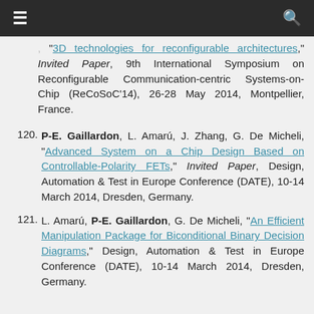≡  [navigation bar]  🔍
"3D technologies for reconfigurable architectures," Invited Paper, 9th International Symposium on Reconfigurable Communication-centric Systems-on-Chip (ReCoSoC'14), 26-28 May 2014, Montpellier, France.
120. P-E. Gaillardon, L. Amarú, J. Zhang, G. De Micheli, "Advanced System on a Chip Design Based on Controllable-Polarity FETs," Invited Paper, Design, Automation & Test in Europe Conference (DATE), 10-14 March 2014, Dresden, Germany.
121. L. Amarú, P-E. Gaillardon, G. De Micheli, "An Efficient Manipulation Package for Biconditional Binary Decision Diagrams," Design, Automation & Test in Europe Conference (DATE), 10-14 March 2014, Dresden, Germany.